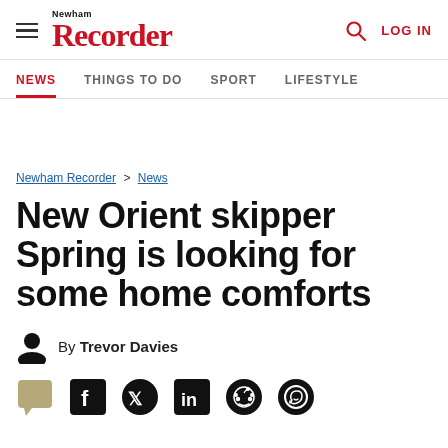Newham Recorder
NEWS   THINGS TO DO   SPORT   LIFESTYLE
Newham Recorder > News
New Orient skipper Spring is looking for some home comforts
By Trevor Davies